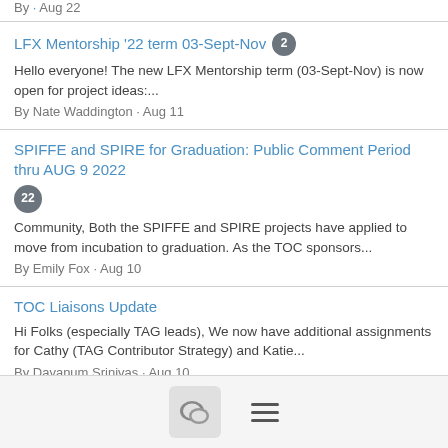By · Aug 22
LFX Mentorship '22 term 03-Sept-Nov [2]
Hello everyone! The new LFX Mentorship term (03-Sept-Nov) is now open for project ideas:...
By Nate Waddington · Aug 11
SPIFFE and SPIRE for Graduation: Public Comment Period thru AUG 9 2022 [22]
Community, Both the SPIFFE and SPIRE projects have applied to move from incubation to graduation. As the TOC sponsors...
By Emily Fox · Aug 10
TOC Liaisons Update
Hi Folks (especially TAG leads), We now have additional assignments for Cathy (TAG Contributor Strategy) and Katie...
By Davanum Srinivas · Aug 10
Monthly Project + CNCF Sync
Hello everyone! This is a reminder that we have our Monthly